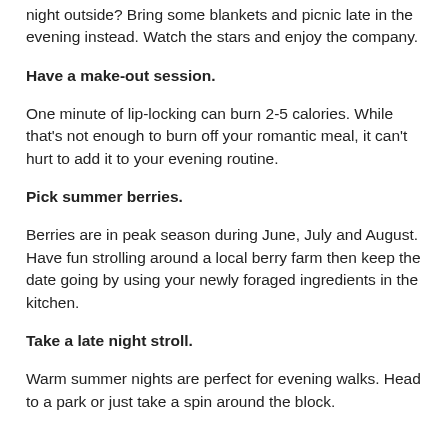night outside? Bring some blankets and picnic late in the evening instead. Watch the stars and enjoy the company.
Have a make-out session.
One minute of lip-locking can burn 2-5 calories. While that's not enough to burn off your romantic meal, it can't hurt to add it to your evening routine.
Pick summer berries.
Berries are in peak season during June, July and August. Have fun strolling around a local berry farm then keep the date going by using your newly foraged ingredients in the kitchen.
Take a late night stroll.
Warm summer nights are perfect for evening walks. Head to a park or just take a spin around the block.